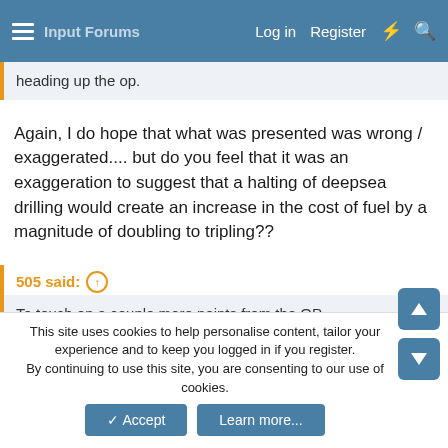Log in  Register
heading up the op.
Again, I do hope that what was presented was wrong / exaggerated.... but do you feel that it was an exaggeration to suggest that a halting of deepsea drilling would create an increase in the cost of fuel by a magnitude of doubling to tripling??
505 said:
To touch on a couple more points from the OP.
This is wrong. BP was stupid in the sense that they had a craptacular casing string design. MMS approved the change from exploratory to production without apparently checking it told likely that the data has
This site uses cookies to help personalise content, tailor your experience and to keep you logged in if you register.
By continuing to use this site, you are consenting to our use of cookies.